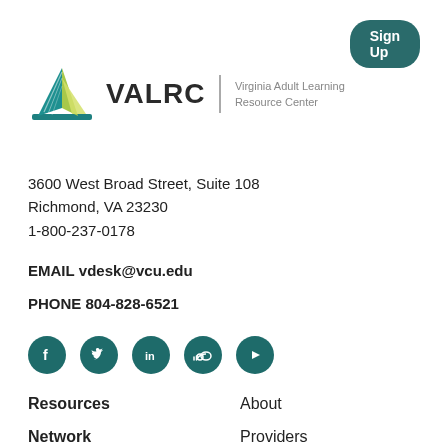Sign Up
[Figure (logo): VALRC logo: triangle shape with teal, green, and yellow leaves, next to text 'VALRC' with a vertical divider and 'Virginia Adult Learning Resource Center']
3600 West Broad Street, Suite 108
Richmond, VA 23230
1-800-237-0178
EMAIL vdesk@vcu.edu
PHONE 804-828-6521
[Figure (infographic): Row of 5 social media icons (Facebook, Twitter, LinkedIn, SoundCloud, YouTube) in dark teal circles]
Resources
About
Network
Providers